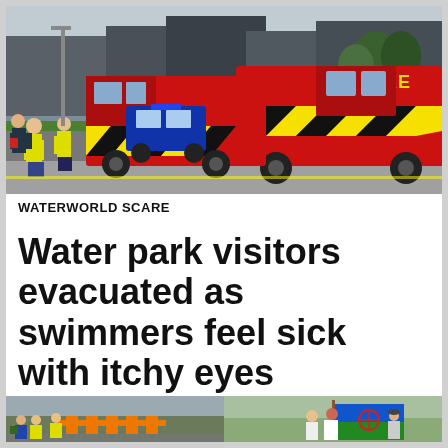[Figure (photo): Fire engines and emergency vehicles parked on a road outside a large building. Yellow high-visibility jacketed figures visible. Fire engines have yellow and red chevron markings with the word FIRE on the back.]
WATERWORLD SCARE
Water park visitors evacuated as swimmers feel sick with itchy eyes
[Figure (photo): Two photos side by side at bottom. Left: outdoor scene with people at what appears to be a protest or event with orange barriers and people in high-vis jackets. Right: people holding a flag with a Romani design at an outdoor event.]